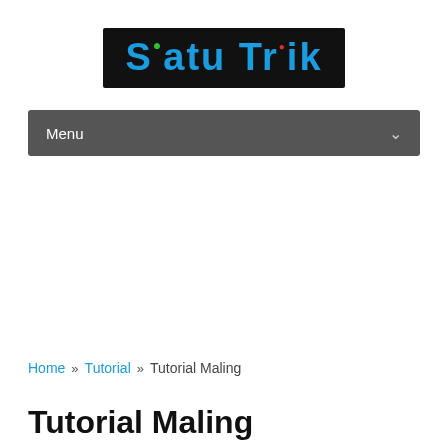[Figure (logo): Satu Trik logo — black background rectangle with colorful bold text 'Satu Trik', S in blue with green dot, Trik in blue with red dot on i]
Menu
Home » Tutorial » Tutorial Maling
Tutorial Maling